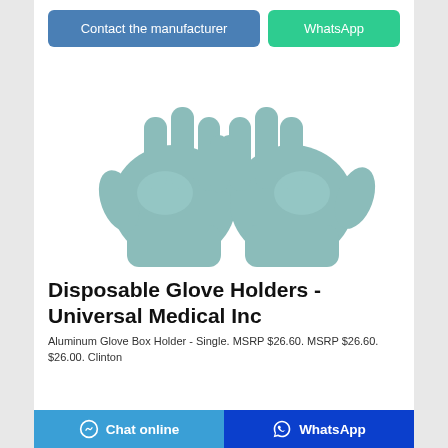[Figure (screenshot): Two blue/teal disposable medical gloves displayed palm-up side by side on white background]
Disposable Glove Holders - Universal Medical Inc
Aluminum Glove Box Holder - Single. MSRP $26.60. MSRP $26.60. $26.00. Clinton
Chat online | WhatsApp